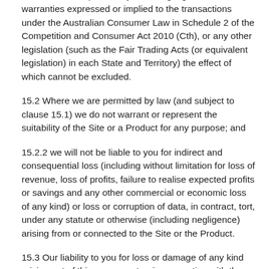15.1 Seller accepts liability for all legal guarantees and warranties expressed or implied to the transactions under the Australian Consumer Law in Schedule 2 of the Competition and Consumer Act 2010 (Cth), or any other legislation (such as the Fair Trading Acts (or equivalent legislation) in each State and Territory) the effect of which cannot be excluded.
15.2 Where we are permitted by law (and subject to clause 15.1) we do not warrant or represent the suitability of the Site or a Product for any purpose; and
15.2.2 we will not be liable to you for indirect and consequential loss (including without limitation for loss of revenue, loss of profits, failure to realise expected profits or savings and any other commercial or economic loss of any kind) or loss or corruption of data, in contract, tort, under any statute or otherwise (including negligence) arising from or connected to the Site or the Product.
15.3 Our liability to you for loss or damage of any kind arising out of this agreement or in connection with the relationship established by it is reduced to the extent (if any) that you cause or contribute to the loss or damage. This reduction applies whether our liability is in contract, tort (including negligence), under any statute or otherwise